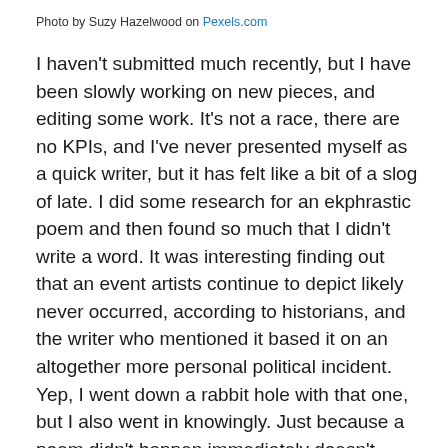Photo by Suzy Hazelwood on Pexels.com
I haven't submitted much recently, but I have been slowly working on new pieces, and editing some work. It's not a race, there are no KPIs, and I've never presented myself as a quick writer, but it has felt like a bit of a slog of late. I did some research for an ekphrastic poem and then found so much that I didn't write a word. It was interesting finding out that an event artists continue to depict likely never occurred, according to historians, and the writer who mentioned it based it on an altogether more personal political incident. Yep, I went down a rabbit hole with that one, but I also went in knowingly. Just because a poem didn't happen immediately doesn't mean no writing will happen ever, it's just in a back pocket for a rainy day.